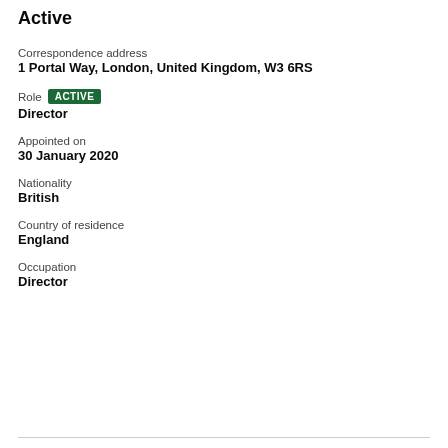Active
Correspondence address
1 Portal Way, London, United Kingdom, W3 6RS
Role  ACTIVE
Director
Appointed on
30 January 2020
Nationality
British
Country of residence
England
Occupation
Director